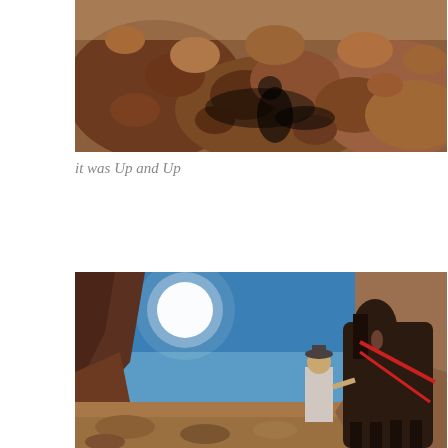[Figure (photo): Rocky desert terrain with large boulders and rocks in warm brown and red tones, viewed from above at an angle. Sunlight casting shadows among the rocks.]
it was Up and Up
[Figure (photo): A person leading a dark horse with red harness along a rocky desert canyon trail under a bright blue sky with a glaring sun. Rugged canyon walls on the left.]